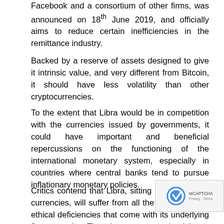Facebook and a consortium of other firms, was announced on 18th June 2019, and officially aims to reduce certain inefficiencies in the remittance industry.
Backed by a reserve of assets designed to give it intrinsic value, and very different from Bitcoin, it should have less volatility than other cryptocurrencies.
To the extent that Libra would be in competition with the currencies issued by governments, it could have important and beneficial repercussions on the functioning of the international monetary system, especially in countries where central banks tend to pursue inflationary monetary policies.
Critics contend that Libra, sitting on a basket of currencies, will suffer from all the economic and ethical deficiencies that come with its underlying fiat currencies. They therefore argue that it is not a real alternative to official currencies, but merely a more straightforward and efficient way to use them.